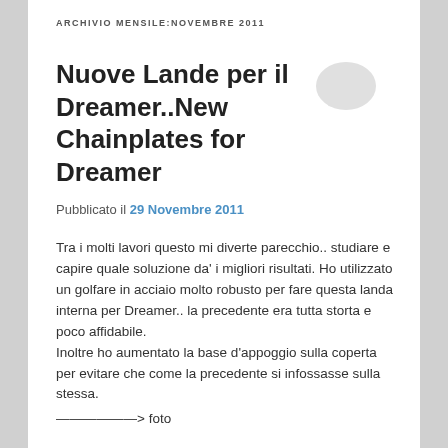ARCHIVIO MENSILE:NOVEMBRE 2011
Nuove Lande per il Dreamer..New Chainplates for Dreamer
[Figure (illustration): Speech bubble / comment icon in light gray]
Pubblicato il 29 Novembre 2011
Tra i molti lavori questo mi diverte parecchio.. studiare e capire quale soluzione da' i migliori risultati. Ho utilizzato un golfare in acciaio molto robusto per fare questa landa interna per Dreamer.. la precedente era tutta storta e poco affidabile.
Inoltre ho aumentato la base d'appoggio sulla coperta per evitare che come la precedente si infossasse sulla stessa.
——————> foto